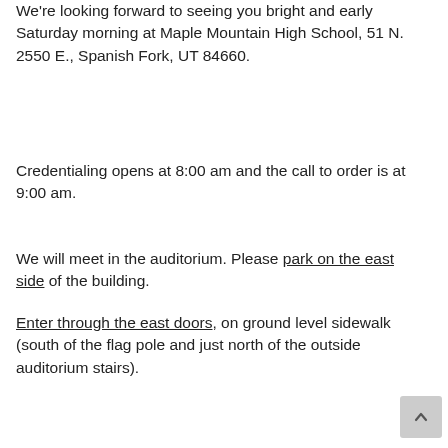We're looking forward to seeing you bright and early Saturday morning at Maple Mountain High School, 51 N. 2550 E., Spanish Fork, UT 84660.
Credentialing opens at 8:00 am and the call to order is at 9:00 am.
We will meet in the auditorium. Please park on the east side of the building.
Enter through the east doors, on ground level sidewalk (south of the flag pole and just north of the outside auditorium stairs).